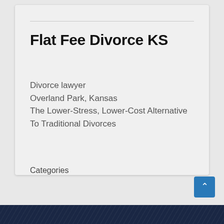Flat Fee Divorce KS
Divorce lawyer
Overland Park, Kansas
The Lower-Stress, Lower-Cost Alternative To Traditional Divorces
Categories
[Figure (screenshot): A dropdown select box labeled 'Select Category' with a chevron arrow on the right side]
[Figure (screenshot): A blue scroll-to-top button with an upward-pointing chevron arrow]